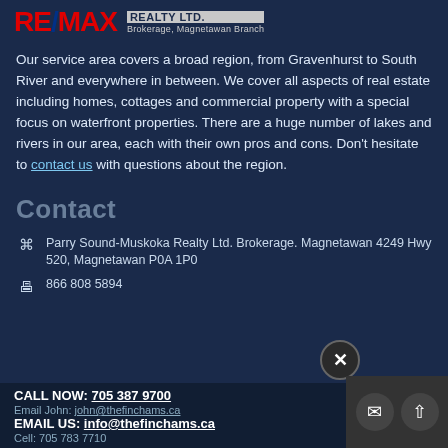[Figure (logo): RE/MAX Realty Ltd. Brokerage, Magnetawan Branch logo]
Our service area covers a broad region, from Gravenhurst to South River and everywhere in between. We cover all aspects of real estate including homes, cottages and commercial property with a special focus on waterfront properties. There are a huge number of lakes and rivers in our area, each with their own pros and cons. Don't hesitate to contact us with questions about the region.
Contact
Parry Sound-Muskoka Realty Ltd. Brokerage. Magnetawan 4249 Hwy 520, Magnetawan P0A 1P0
866 808 5894
CALL NOW: 705 387 9700
Email John: john@thefinchams.ca
EMAIL US: info@thefinchams.ca
Cell: 705 783 7710